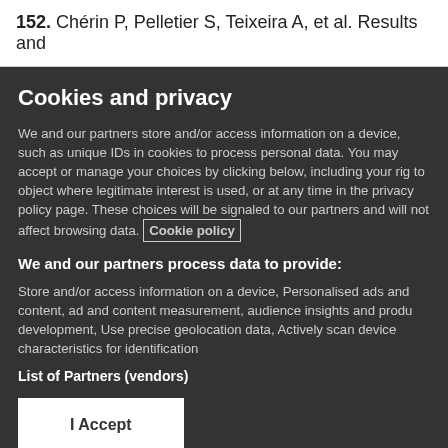152. Chérin P, Pelletier S, Teixeira A, et al. Results and
Cookies and privacy
We and our partners store and/or access information on a device, such as unique IDs in cookies to process personal data. You may accept or manage your choices by clicking below, including your rig to object where legitimate interest is used, or at any time in the privacy policy page. These choices will be signaled to our partners and will not affect browsing data. Cookie policy
We and our partners process data to provide:
Store and/or access information on a device, Personalised ads and content, ad and content measurement, audience insights and produ development, Use precise geolocation data, Actively scan device characteristics for identification
List of Partners (vendors)
I Accept